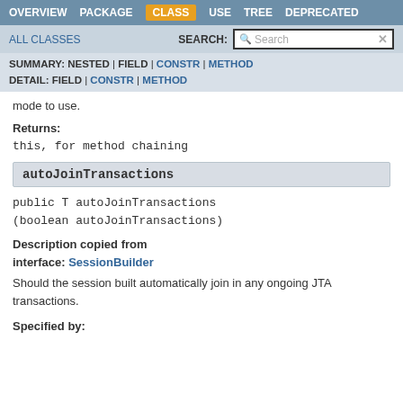OVERVIEW  PACKAGE  CLASS  USE  TREE  DEPRECATED
ALL CLASSES   SEARCH:
SUMMARY: NESTED | FIELD | CONSTR | METHOD  DETAIL: FIELD | CONSTR | METHOD
mode to use.
Returns:
this, for method chaining
autoJoinTransactions
public T autoJoinTransactions
(boolean autoJoinTransactions)
Description copied from interface: SessionBuilder
Should the session built automatically join in any ongoing JTA transactions.
Specified by: